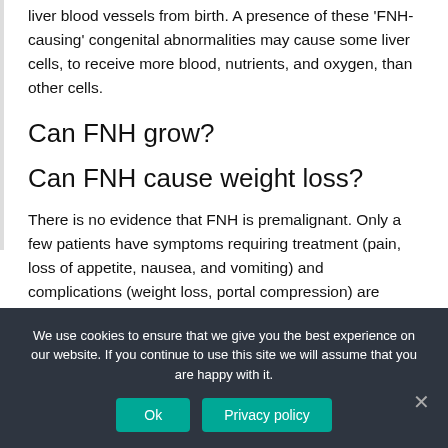liver blood vessels from birth. A presence of these 'FNH-causing' congenital abnormalities may cause some liver cells, to receive more blood, nutrients, and oxygen, than other cells.
Can FNH grow?
Can FNH cause weight loss?
There is no evidence that FNH is premalignant. Only a few patients have symptoms requiring treatment (pain, loss of appetite, nausea, and vomiting) and complications (weight loss, portal compression) are extremely rare. The preferred treatment for
We use cookies to ensure that we give you the best experience on our website. If you continue to use this site we will assume that you are happy with it.